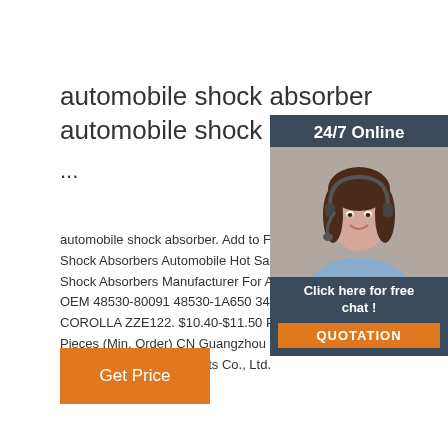automobile shock absorber automobile shock absorb
...
automobile shock absorber. Add to Favorites Shock Absorbers Automobile Hot Sale Ste Shock Absorbers Manufacturer For Autom OEM 48530-80091 48530-1A650 341322 COROLLA ZZE122. $10.40-$11.50 Piece. Pieces (Min. Order) CN Guangzhou Zhonghenghang Auto Parts Co., Ltd.
[Figure (photo): Chat widget overlay with a woman wearing a headset, dark background panel showing '24/7 Online', 'Click here for free chat!', and an orange QUOTATION button]
Get Price